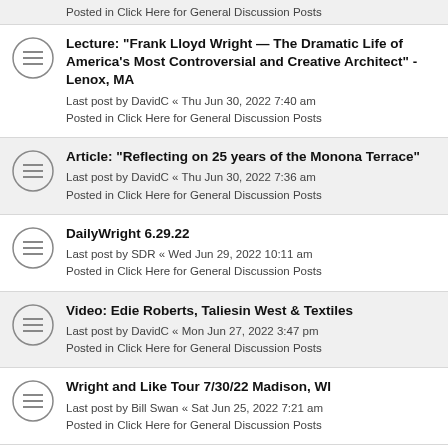Posted in Click Here for General Discussion Posts
Lecture: "Frank Lloyd Wright — The Dramatic Life of America's Most Controversial and Creative Architect" - Lenox, MA
Last post by DavidC « Thu Jun 30, 2022 7:40 am
Posted in Click Here for General Discussion Posts
Article: "Reflecting on 25 years of the Monona Terrace"
Last post by DavidC « Thu Jun 30, 2022 7:36 am
Posted in Click Here for General Discussion Posts
DailyWright 6.29.22
Last post by SDR « Wed Jun 29, 2022 10:11 am
Posted in Click Here for General Discussion Posts
Video: Edie Roberts, Taliesin West & Textiles
Last post by DavidC « Mon Jun 27, 2022 3:47 pm
Posted in Click Here for General Discussion Posts
Wright and Like Tour 7/30/22 Madison, WI
Last post by Bill Swan « Sat Jun 25, 2022 7:21 am
Posted in Click Here for General Discussion Posts
DailyWright 6.24.22